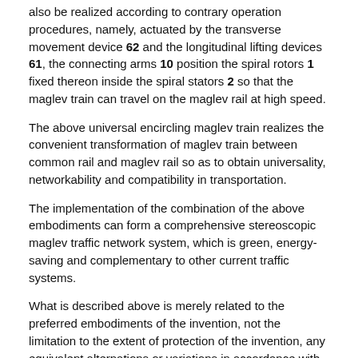also be realized according to contrary operation procedures, namely, actuated by the transverse movement device 62 and the longitudinal lifting devices 61, the connecting arms 10 position the spiral rotors 1 fixed thereon inside the spiral stators 2 so that the maglev train can travel on the maglev rail at high speed.
The above universal encircling maglev train realizes the convenient transformation of maglev train between common rail and maglev rail so as to obtain universality, networkability and compatibility in transportation.
The implementation of the combination of the above embodiments can form a comprehensive stereoscopic maglev traffic network system, which is green, energy-saving and complementary to other current traffic systems.
What is described above is merely related to the preferred embodiments of the invention, not the limitation to the extent of protection of the invention, any equivalent alternations or variations in accordance with the technical proposal of the invention and the concept thereof from the skilled in this art within the disclosed technical scope should be within the extent of protection of the invention.